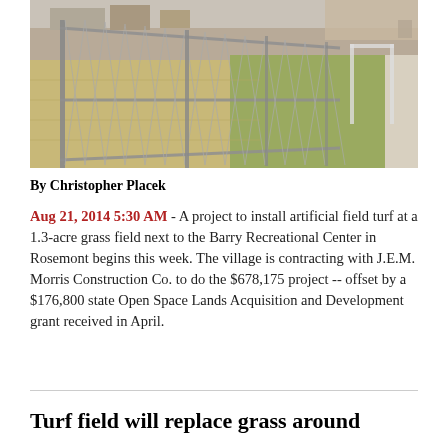[Figure (photo): Outdoor chain-link fence along a grass field near a building, photographed in early spring with dry brown grass and a sidewalk visible on the right side.]
By Christopher Placek
Aug 21, 2014 5:30 AM - A project to install artificial field turf at a 1.3-acre grass field next to the Barry Recreational Center in Rosemont begins this week. The village is contracting with J.E.M. Morris Construction Co. to do the $678,175 project -- offset by a $176,800 state Open Space Lands Acquisition and Development grant received in April.
Turf field will replace grass around